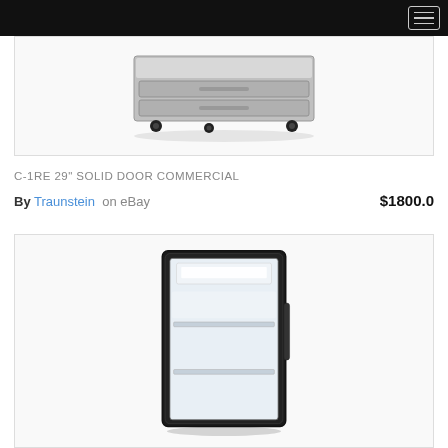Navigation header with hamburger menu
[Figure (photo): Stainless steel commercial under-counter refrigerator unit with casters, viewed from front-side angle]
C-1RE 29" SOLID DOOR COMMERCIAL
By Traunstein on eBay   $1800.0
[Figure (photo): Black mini refrigerator with glass door open showing interior shelving and LED light]